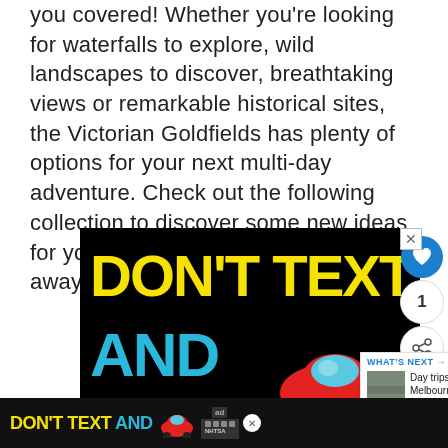you covered! Whether you're looking for waterfalls to explore, wild landscapes to discover, breathtaking views or remarkable historical sites, the Victorian Goldfields has plenty of options for your next multi-day adventure. Check out the following collection to discover some new ideas for your Queen's Birthday weekend away!
[Figure (screenshot): Advertisement banner with black background showing 'DON'T TEXT AND' in yellow and blue bold text with a red car graphic]
[Figure (infographic): Side panel with heart/like button (blue circle), count of 1, and share button]
[Figure (screenshot): What's Next panel showing 'Day trips from Melbourne t...' with thumbnail image]
[Figure (screenshot): Bottom banner ad repeating 'DON'T TEXT AND' with red car and NHTSA branding, with weather/CNN widget on right]